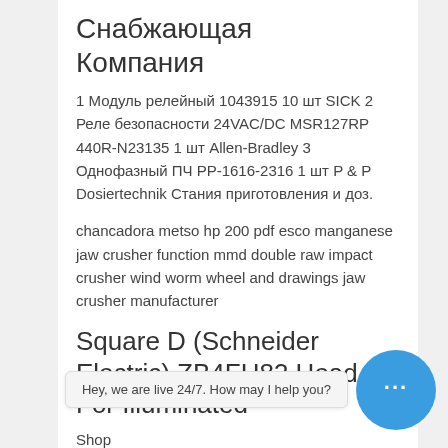Снабжающая Компания
1 Модуль релейный 1043915 10 шт SICK 2 Реле безопасности 24VAC/DC MSR127RP 440R-N23135 1 шт Allen-Bradley 3 Однофазный ПЧ РР-1616-2316 1 шт P & P Dosiertechnik Стания приготовления и доз.
chancadora metso hp 200 pdf esco manganese jaw crusher function mmd double raw impact crusher wind worm wheel and drawings jaw crusher manufacturer
Square D (Schneider Electric) ZB4FH83 Head For Illuminated
Shop
Button, Harmony XB4, Flush Mounted
Hey, we are live 24/7. How may I help you?